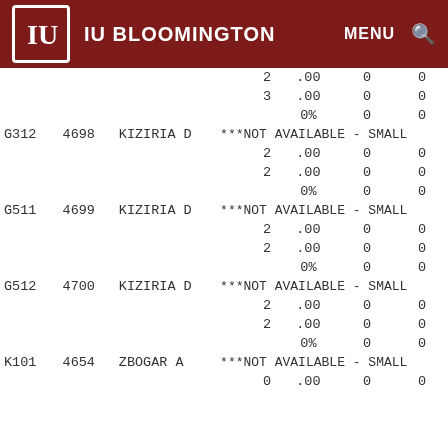IU BLOOMINGTON  MENU
| Code | Num | Name | Info | V1 | V2 | V3 |
| --- | --- | --- | --- | --- | --- | --- |
|  |  |  | 2 | .00 | 0 | 0 |
|  |  |  | 3 | .00 | 0 | 0 |
|  |  |  | 0% |  | 0 | 0 |
| G312 | 4698 | KIZIRIA D | ***NOT AVAILABLE - SMALL |  |  |  |
|  |  |  | 2 | .00 | 0 | 0 |
|  |  |  | 2 | .00 | 0 | 0 |
|  |  |  | 0% |  | 0 | 0 |
| G511 | 4699 | KIZIRIA D | ***NOT AVAILABLE - SMALL |  |  |  |
|  |  |  | 2 | .00 | 0 | 0 |
|  |  |  | 2 | .00 | 0 | 0 |
|  |  |  | 0% |  | 0 | 0 |
| G512 | 4700 | KIZIRIA D | ***NOT AVAILABLE - SMALL |  |  |  |
|  |  |  | 2 | .00 | 0 | 0 |
|  |  |  | 2 | .00 | 0 | 0 |
|  |  |  | 0% |  | 0 | 0 |
| K101 | 4654 | ZBOGAR A | ***NOT AVAILABLE - SMALL |  |  |  |
|  |  |  | 0 | .00 | 0 | 0 |